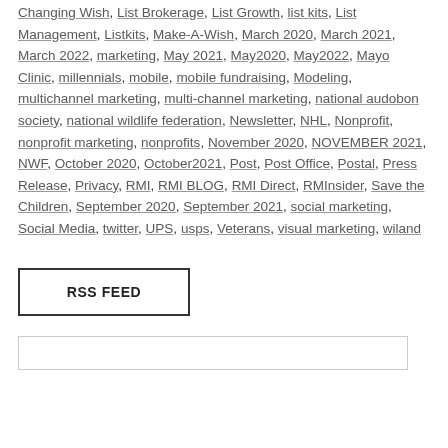Changing Wish, List Brokerage, List Growth, list kits, List Management, Listkits, Make-A-Wish, March 2020, March 2021, March 2022, marketing, May 2021, May2020, May2022, Mayo Clinic, millennials, mobile, mobile fundraising, Modeling, multichannel marketing, multi-channel marketing, national audobon society, national wildlife federation, Newsletter, NHL, Nonprofit, nonprofit marketing, nonprofits, November 2020, NOVEMBER 2021, NWF, October 2020, October2021, Post, Post Office, Postal, Press Release, Privacy, RMI, RMI BLOG, RMI Direct, RMInsider, Save the Children, September 2020, September 2021, social marketing, Social Media, twitter, UPS, usps, Veterans, visual marketing, wiland
RSS FEED